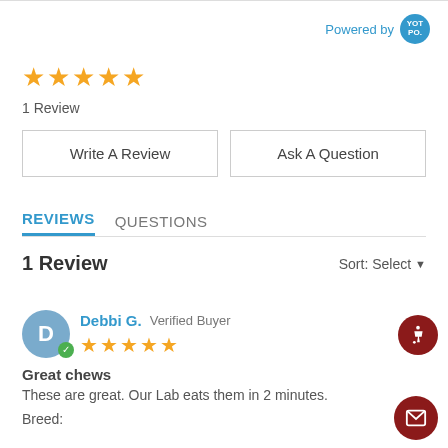Powered by YOTPO
[Figure (other): 5 orange stars rating]
1 Review
Write A Review | Ask A Question
REVIEWS   QUESTIONS
1 Review
Sort: Select
Debbi G. Verified Buyer
★★★★★
Great chews
These are great. Our Lab eats them in 2 minutes.
Breed: